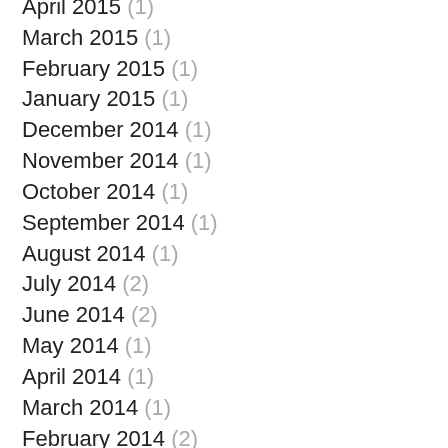April 2015 (1)
March 2015 (1)
February 2015 (1)
January 2015 (1)
December 2014 (1)
November 2014 (1)
October 2014 (1)
September 2014 (1)
August 2014 (1)
July 2014 (2)
June 2014 (2)
May 2014 (1)
April 2014 (1)
March 2014 (1)
February 2014 (2)
January 2014 (1)
December 2013 (2)
November 2013 (1)